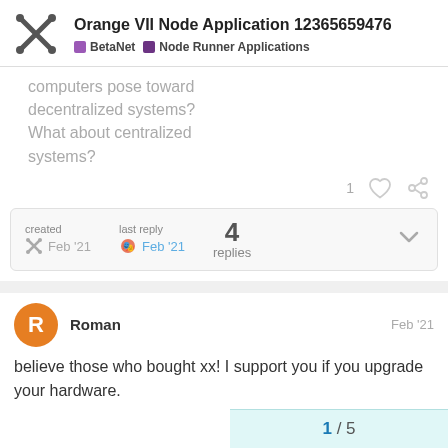Orange VII Node Application 12365659476 — BetaNet | Node Runner Applications
computers pose toward decentralized systems? What about centralized systems?
1 [like] [link]
created Feb '21   last reply Feb '21   4 replies
Roman  Feb '21
believe those who bought xx! I support you if you upgrade your hardware.
1 / 5